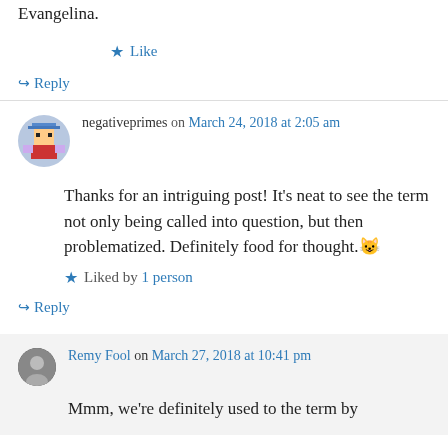Evangelina.
★ Like
↪ Reply
negativeprimes on March 24, 2018 at 2:05 am
Thanks for an intriguing post! It's neat to see the term not only being called into question, but then problematized. Definitely food for thought. 😺
★ Liked by 1 person
↪ Reply
Remy Fool on March 27, 2018 at 10:41 pm
Mmm, we're definitely used to the term by